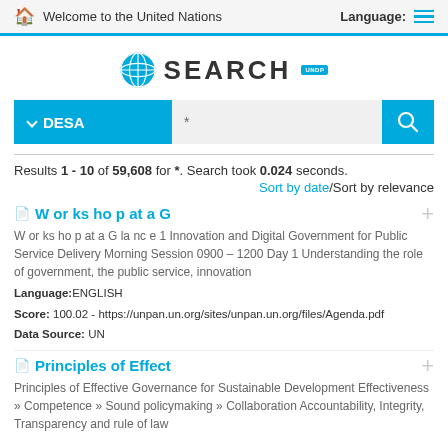Welcome to the United Nations  Language:
[Figure (logo): UN Search logo with globe icon and SEARCH text and UNDP badge]
[Figure (screenshot): Search bar with DESA dropdown, asterisk query input, and search button]
Results 1 - 10 of 59,608 for *. Search took 0.024 seconds.
Sort by date/Sort by relevance
W or ks ho p at a G
W or ks ho p at a G la nc e 1 Innovation and Digital Government for Public Service Delivery Morning Session 0900 – 1200 Day 1 Understanding the role of government, the public service, innovation
Language:ENGLISH
Score: 100.02 - https://unpan.un.org/sites/unpan.un.org/files/Agenda.pdf
Data Source: UN
Principles of Effect
Principles of Effective Governance for Sustainable Development Effectiveness » Competence » Sound policymaking » Collaboration Accountability, Integrity, Transparency and rule of law